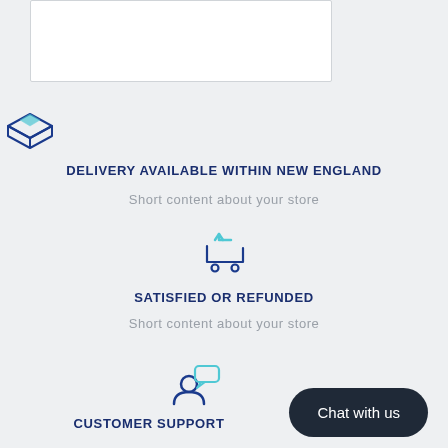[Figure (illustration): White rectangular box at the top of the page]
[Figure (illustration): Blue outlined box/package delivery icon]
DELIVERY AVAILABLE WITHIN NEW ENGLAND
Short content about your store
[Figure (illustration): Blue outlined shopping cart with return arrow icon]
SATISFIED OR REFUNDED
Short content about your store
[Figure (illustration): Blue outlined customer support/person with chat bubble icon]
CUSTOMER SUPPORT
Chat with us